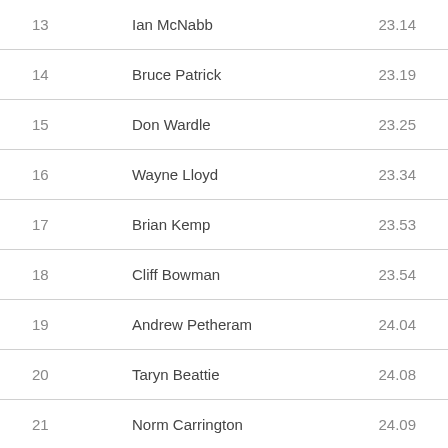| Rank | Name | Time |
| --- | --- | --- |
| 13 | Ian McNabb | 23.14 |
| 14 | Bruce Patrick | 23.19 |
| 15 | Don Wardle | 23.25 |
| 16 | Wayne Lloyd | 23.34 |
| 17 | Brian Kemp | 23.53 |
| 18 | Cliff Bowman | 23.54 |
| 19 | Andrew Petheram | 24.04 |
| 20 | Taryn Beattie | 24.08 |
| 21 | Norm Carrington | 24.09 |